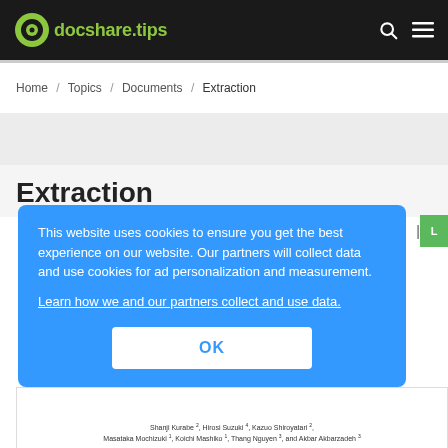docshare.tips
Home / Topics / Documents / Extraction
Extraction
This website uses cookies to ensure you get the best experience on our website. Our partners will collect data and use cookies for ad personalization and measurement. Learn how we and our partners collect and use data.
OK
Shanji Kurabe, Hirosi Suzuki, Kazuo Shiroyatari, Masataka Mochizuki, Koichi Mashiko, Thang Nguyen, and Akbar Akbarzadeh